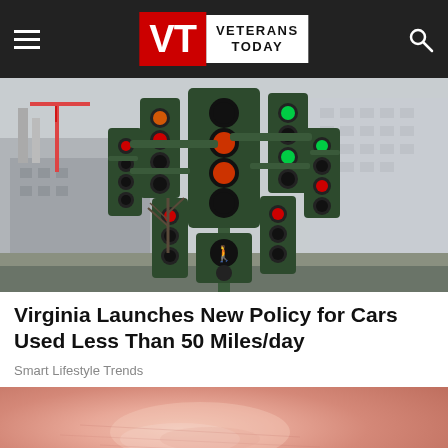Veterans Today (VT logo with navigation bar)
[Figure (photo): Photo of a large cluster of traffic lights on a single pole, with multiple signals showing red, green and yellow lights, set against an urban skyline with construction cranes and high-rise buildings under overcast sky.]
Virginia Launches New Policy for Cars Used Less Than 50 Miles/day
Smart Lifestyle Trends
[Figure (photo): Close-up macro photograph of human skin, showing fine skin texture and surface detail with pinkish tones.]